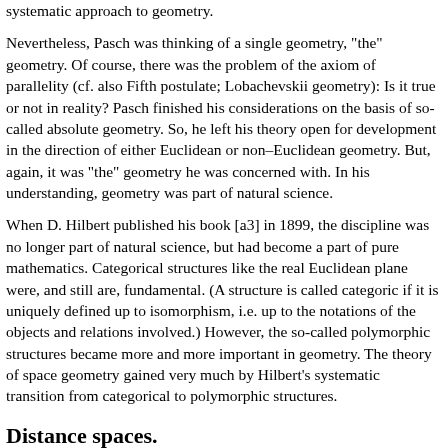systematic approach to geometry.
Nevertheless, Pasch was thinking of a single geometry, "the" geometry. Of course, there was the problem of the axiom of parallelity (cf. also Fifth postulate; Lobachevskii geometry): Is it true or not in reality? Pasch finished his considerations on the basis of so-called absolute geometry. So, he left his theory open for development in the direction of either Euclidean or non–Euclidean geometry. But, again, it was "the" geometry he was concerned with. In his understanding, geometry was part of natural science.
When D. Hilbert published his book [a3] in 1899, the discipline was no longer part of natural science, but had become a part of pure mathematics. Categorical structures like the real Euclidean plane were, and still are, fundamental. (A structure is called categoric if it is uniquely defined up to isomorphism, i.e. up to the notations of the objects and relations involved.) However, the so-called polymorphic structures became more and more important in geometry. The theory of space geometry gained very much by Hilbert's systematic transition from categorical to polymorphic structures.
Distance spaces.